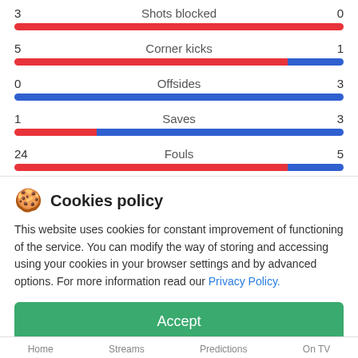[Figure (infographic): Sports stats comparison bars showing Shots blocked (3 vs 0), Corner kicks (5 vs 1), Offsides (0 vs 3), Saves (1 vs 3), Fouls (24 vs 5) with red bars for left team and blue bars for right team]
Cookies policy
This website uses cookies for constant improvement of functioning of the service. You can modify the way of storing and accessing using your cookies in your browser settings and by advanced options. For more information read our Privacy Policy.
Accept
Home  Streams  Predictions  On TV